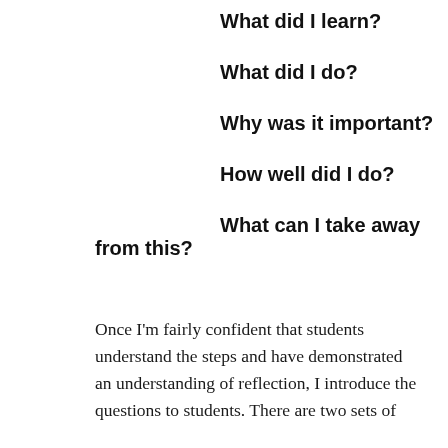What did I learn?
What did I do?
Why was it important?
How well did I do?
What can I take away from this?
Once I'm fairly confident that students understand the steps and have demonstrated an understanding of reflection, I introduce the questions to students. There are two sets of